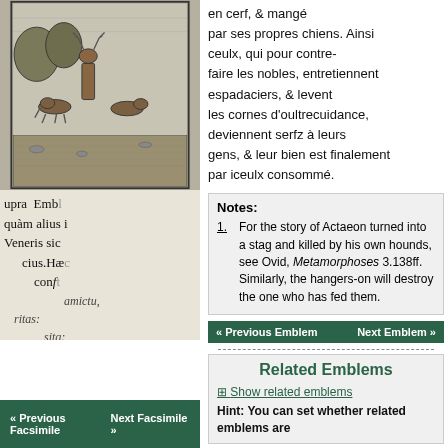[Figure (photo): Facsimile page of an old book showing a woodcut engraving of a figure (possibly Actaeon) with Latin text including words: supra Embl, quàm alius i, Veneris sic, cius. Haec, conft, u, amictu, ritas:, sitq;]
en cerf, & mangé par ses propres chiens. Ainsi ceulx, qui pour contrefaire les nobles, entretiennent espadaciers, & levent les cornes d'oultrecuidance, deviennent serfz à leurs gens, & leur bien est finalement par iceulx consommé.
Notes:
1. For the story of Actaeon turned into a stag and killed by his own hounds, see Ovid, Metamorphoses 3.138ff. Similarly, the hangers-on will destroy the one who has fed them.
« Previous Emblem   Next Emblem »
Related Emblems
Show related emblems
Hint: You can set whether related emblems are
« Previous Facsimile   Next Facsimile »